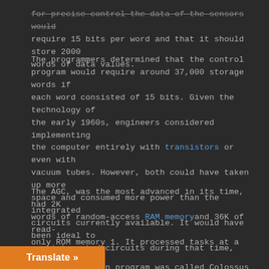for precise control the data of the sensors would require 15 bits per word and that it should store 2000 words of data values.
The programmers determined that the control program would require around 37,000 storage words if each word consisted of 15 bits. Given the technology of the early 1960s, engineers considered implementing the computer entirely with transistors or even with vacuum tubes. However, both could have taken up more space and consumed more power than the integrated circuits currently available. It would have been ideal to use integrated circuits during that time, but the technology of that time had not yet been designed.
The AGC, was the most advanced in its time, had 2K words of random-access RAM memory and 36K of read-only ROM memory 1. It processed tasks at a speed of 1 MHz and its main program was called Colossus 249, a software in charge to perform the calculations for the details of the flight. The system memory of the Apollo's r consisted of a read-only memory